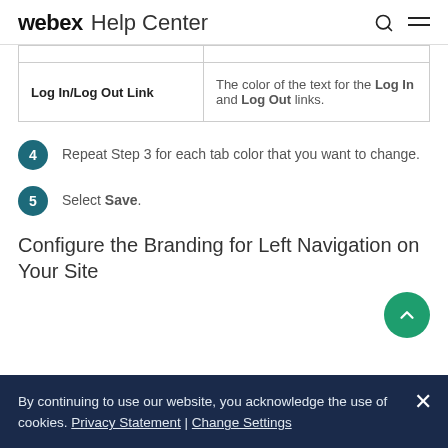webex Help Center
| Log In/Log Out Link | The color of the text for the Log In and Log Out links. |
4  Repeat Step 3 for each tab color that you want to change.
5  Select Save.
Configure the Branding for Left Navigation on Your Site
By continuing to use our website, you acknowledge the use of cookies. Privacy Statement | Change Settings